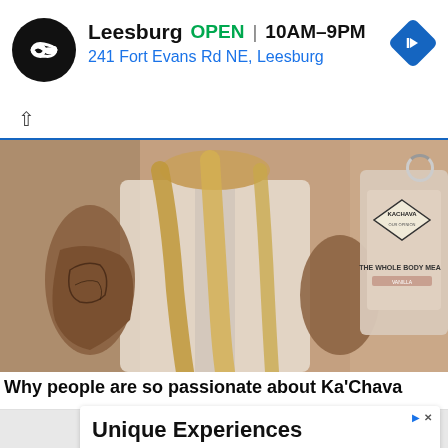[Figure (screenshot): Store locator ad banner showing Leesburg location: black circular logo with infinity-like symbol, store name 'Leesburg', green 'OPEN' badge, hours '10AM–9PM', address '241 Fort Evans Rd NE, Leesburg' in blue, blue diamond navigation icon on right. Small ad controls (play and X icons) on left edge.]
[Figure (screenshot): Chevron/collapse bar with up-arrow caret on white background with blue bottom border.]
[Figure (photo): Person with tattoos on arms wearing white lace top holding a Ka'Chava 'The Whole Body Meal' vanilla protein powder bag. Long wavy blonde hair. Warm toned photo.]
Why people are so passionate about Ka'Chava
[Figure (screenshot): Advertisement card for 'Unique Experiences' by Volalto Rentals. Shows 'Book Directly And Get Best Rate Guaranteed' with a blue 'Open' button. Ad controls (play and X) in top right.]